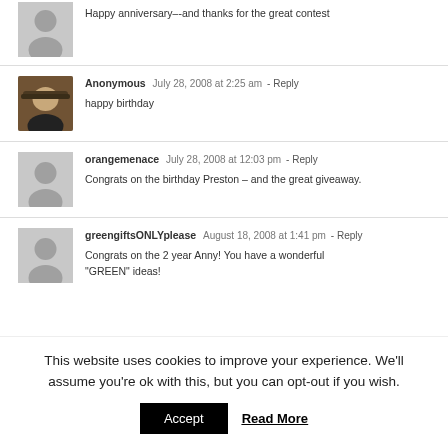Happy anniversary–-and thanks for the great contest
Anonymous  July 28, 2008 at 2:25 am - Reply
happy birthday
orangemenace  July 28, 2008 at 12:03 pm - Reply
Congrats on the birthday Preston – and the great giveaway.
greengiftsONLYplease  August 18, 2008 at 1:41 pm - Reply
Congrats on the 2 year Anny! You have a wonderful "GREEN" ideas!
This website uses cookies to improve your experience. We'll assume you're ok with this, but you can opt-out if you wish.